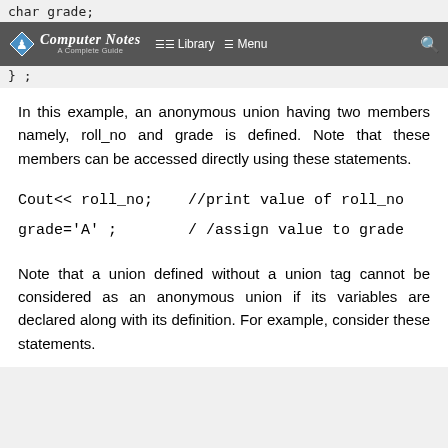char grade;
Computer Notes – A Complete Guide | Library | Menu
};
In this example, an anonymous union having two members namely, roll_no and grade is defined. Note that these members can be accessed directly using these statements.
Cout<< roll_no;                    //print value of roll_no
grade='A' ;                        / /assign value to grade
Note that a union defined without a union tag cannot be considered as an anonymous union if its variables are declared along with its definition. For example, consider these statements.